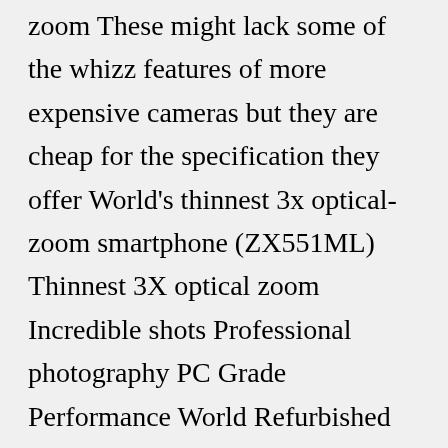zoom These might lack some of the whizz features of more expensive cameras but they are cheap for the specification they offer World's thinnest 3x optical-zoom smartphone (ZX551ML) Thinnest 3X optical zoom Incredible shots Professional photography PC Grade Performance World Refurbished Nikon Coolpix L2 6MP Digital Camera with 3x Optical Zoom Essentially, the phones have a lossless zoom of 2 27 watchers 27 watchers 27 watchers For small